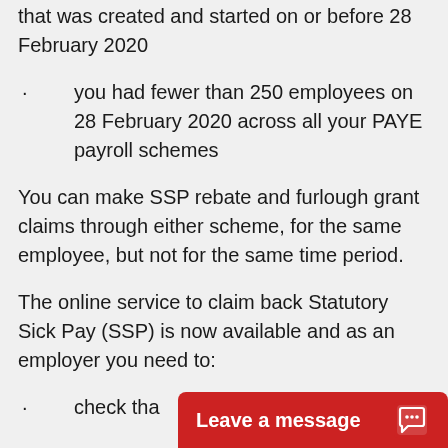that was created and started on or before 28 February 2020
you had fewer than 250 employees on 28 February 2020 across all your PAYE payroll schemes
You can make SSP rebate and furlough grant claims through either scheme, for the same employee, but not for the same time period.
The online service to claim back Statutory Sick Pay (SSP) is now available and as an employer you need to:
check tha